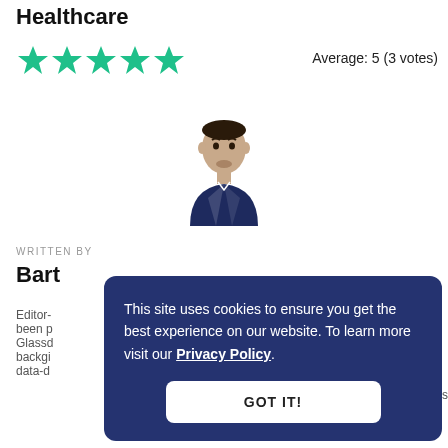Healthcare
Average: 5 (3 votes)
[Figure (illustration): Five green filled star icons representing a 5-star rating]
[Figure (photo): Headshot photo of a man in a dark suit jacket, with short dark hair and a small beard]
WRITTEN BY
Bart
Editor-
been p
Glassd
backg
data-d
This site uses cookies to ensure you get the best experience on our website. To learn more visit our Privacy Policy.
GOT IT!